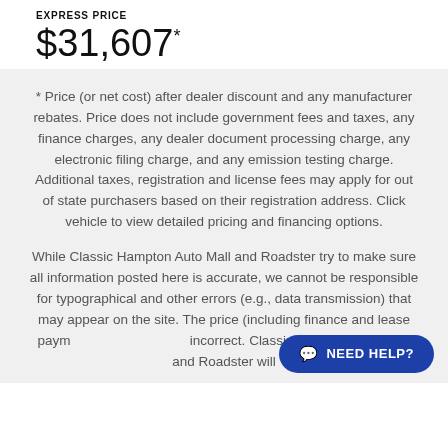EXPRESS PRICE
$31,607*
* Price (or net cost) after dealer discount and any manufacturer rebates. Price does not include government fees and taxes, any finance charges, any dealer document processing charge, any electronic filing charge, and any emission testing charge. Additional taxes, registration and license fees may apply for out of state purchasers based on their registration address. Click vehicle to view detailed pricing and financing options.
While Classic Hampton Auto Mall and Roadster try to make sure all information posted here is accurate, we cannot be responsible for typographical and other errors (e.g., data transmission) that may appear on the site. The price (including finance and lease payments) of a vehicle is incorrect. Classic Hampton Auto Mall and Roadster will